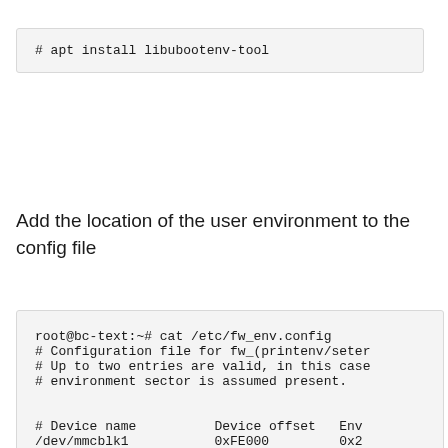# apt install libubootenv-tool
Add the location of the user environment to the config file
root@bc-text:~# cat /etc/fw_env.config
# Configuration file for fw_(printenv/seter
# Up to two entries are valid, in this case
# environment sector is assumed present.


# Device name          Device offset   Env
/dev/mmcblk1           0xFE000         0x2
root@bc-text:~#